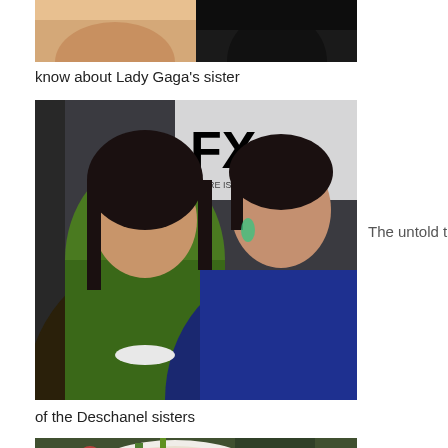[Figure (photo): Partial cropped photo showing two people, left half showing skin/face crop, right half showing dark clothing or hair]
know about Lady Gaga's sister
[Figure (photo): Photo of two women posing at an FX event. Left woman has dark bangs and wears a green top. Right woman has dark hair pulled back and wears a blue dress. FX logo visible in background.]
The untold truth
of the Deschanel sisters
[Figure (photo): Partial photo showing food items including a white plate with dip, vegetables, pomegranate seeds, and peppers on a dark surface]